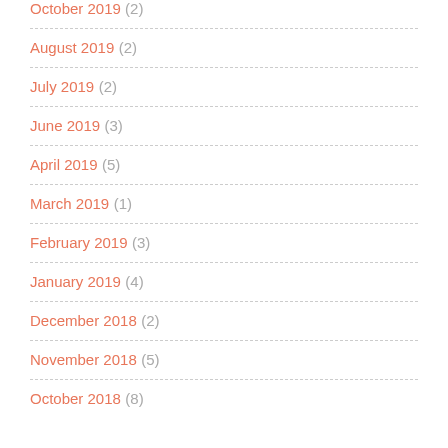October 2019 (2)
August 2019 (2)
July 2019 (2)
June 2019 (3)
April 2019 (5)
March 2019 (1)
February 2019 (3)
January 2019 (4)
December 2018 (2)
November 2018 (5)
October 2018 (8)